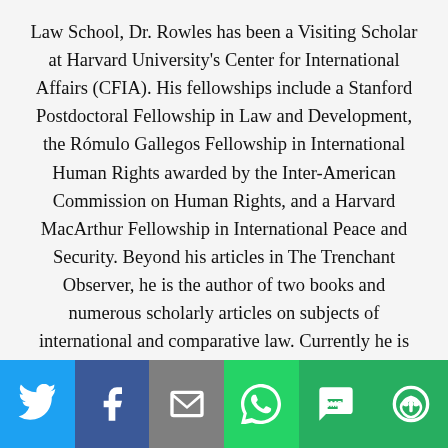Law School, Dr. Rowles has been a Visiting Scholar at Harvard University's Center for International Affairs (CFIA). His fellowships include a Stanford Postdoctoral Fellowship in Law and Development, the Rómulo Gallegos Fellowship in International Human Rights awarded by the Inter-American Commission on Human Rights, and a Harvard MacArthur Fellowship in International Peace and Security. Beyond his articles in The Trenchant Observer, he is the author of two books and numerous scholarly articles on subjects of international and comparative law. Currently he is working on a manuscript drawing on some the best articles that have appeared in the blog.
[Figure (infographic): Social share bar with icons for Twitter (blue), Facebook (dark blue), Email (gray), WhatsApp (green), SMS (green), and More (green)]